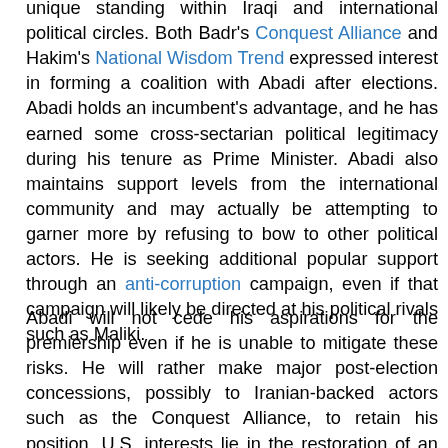unique standing within Iraqi and international political circles. Both Badr's Conquest Alliance and Hakim's National Wisdom Trend expressed interest in forming a coalition with Abadi after elections. Abadi holds an incumbent's advantage, and he has earned some cross-sectarian political legitimacy during his tenure as Prime Minister. Abadi also maintains support levels from the international community and may actually be attempting to garner more by refusing to bow to other political actors. He is seeking additional popular support through an anti-corruption campaign, even if that campaign will likely be directed at his political rivals such as Maliki.
Abadi will not cede his aspirations for the premiership even if he is unable to mitigate these risks. He will rather make major post-election concessions, possibly to Iranian-backed actors such as the Conquest Alliance, to retain his position. U.S. interests lie in the restoration of an inclusive Iraqi government not dominated by Iranian-backed actors. Abadi's flirtation with the Conquest Alliance and failure to hold together an electoral list may suggest it is time for the U.S. to reassess our favor toward Abadi as Iraq's Prime Minister. Certainly, the U.S. must not assume Abadi will remain